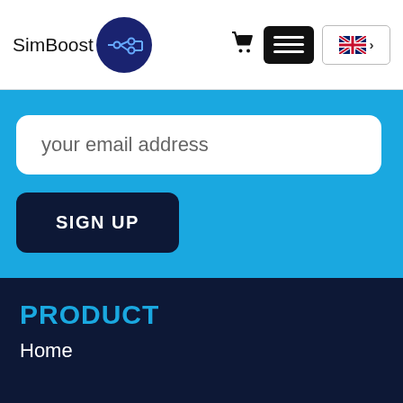[Figure (logo): SimBoost logo with text 'SimBoost' and a dark blue circular icon with circuit board lines]
[Figure (infographic): Website navigation header with shopping cart icon, hamburger menu button, and UK flag language selector with chevron]
your email address
SIGN UP
PRODUCT
Home